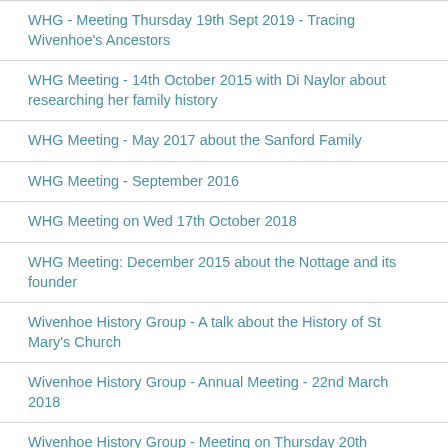WHG - Meeting Thursday 19th Sept 2019 - Tracing Wivenhoe's Ancestors
WHG Meeting - 14th October 2015 with Di Naylor about researching her family history
WHG Meeting - May 2017 about the Sanford Family
WHG Meeting - September 2016
WHG Meeting on Wed 17th October 2018
WHG Meeting: December 2015 about the Nottage and its founder
Wivenhoe History Group - A talk about the History of St Mary's Church
Wivenhoe History Group - Annual Meeting - 22nd March 2018
Wivenhoe History Group - Meeting on Thursday 20th December